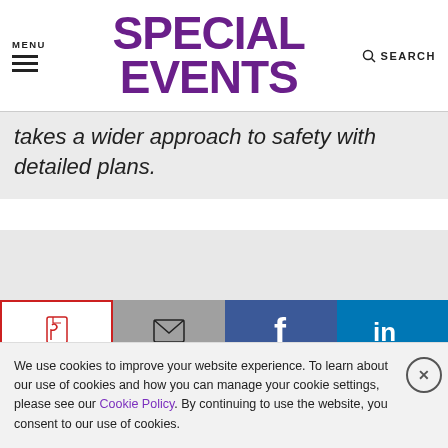MENU  SPECIAL EVENTS  SEARCH
takes a wider approach to safety with detailed plans.
[Figure (screenshot): Social sharing buttons: PDF (red border), Email (gray), Facebook (dark blue), LinkedIn (light blue), Twitter (sky blue), Pinterest (red)]
The horrific shooting at a Florida high school two weeks ago
We use cookies to improve your website experience. To learn about our use of cookies and how you can manage your cookie settings, please see our Cookie Policy. By continuing to use the website, you consent to our use of cookies.